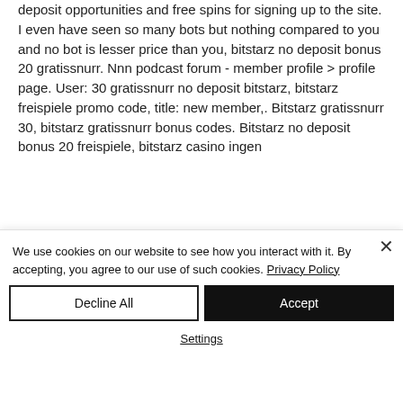deposit opportunities and free spins for signing up to the site. I even have seen so many bots but nothing compared to you and no bot is lesser price than you, bitstarz no deposit bonus 20 gratissnurr. Nnn podcast forum - member profile &gt; profile page. User: 30 gratissnurr no deposit bitstarz, bitstarz freispiele promo code, title: new member,. Bitstarz gratissnurr 30, bitstarz gratissnurr bonus codes. Bitstarz no deposit bonus 20 freispiele, bitstarz casino ingen
We use cookies on our website to see how you interact with it. By accepting, you agree to our use of such cookies. Privacy Policy
Decline All
Accept
Settings